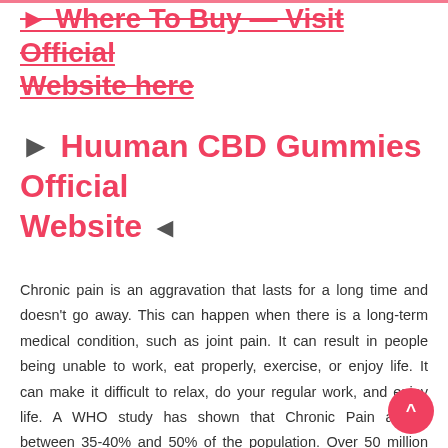► Where To Buy — Visit Official Website here
► Huuman CBD Gummies Official Website ◄
Chronic pain is an aggravation that lasts for a long time and doesn't go away. This can happen when there is a long-term medical condition, such as joint pain. It can result in people being unable to work, eat properly, exercise, or enjoy life. It can make it difficult to relax, do your regular work, and enjoy life. A WHO study has shown that Chronic Pain affects between 35-40% and 50% of the population. Over 50 million Americans suffer